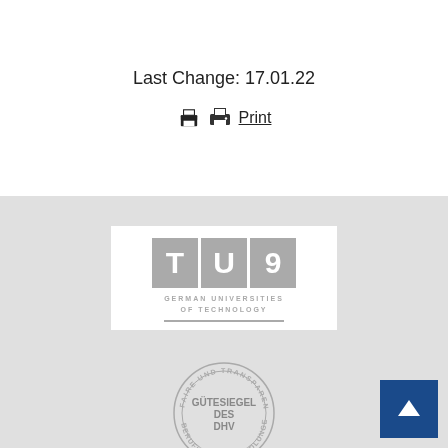Last Change: 17.01.22
Print
[Figure (logo): TU9 German Universities of Technology logo — grey letters TU9 on white background with subtitle 'GERMAN UNIVERSITIES OF TECHNOLOGY' and a grey horizontal line]
[Figure (logo): DHV Gütesiegel (quality seal) circular stamp with text 'FAIRE UND TRANSPARENTE BERUFUNGSVERHANDLUNGEN' around the edge and 'GÜTESIEGEL DES DHV' in the center]